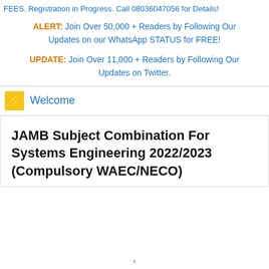FEES. Registration in Progress. Call 08036047056 for Details!
ALERT: Join Over 50,000 + Readers by Following Our Updates on our WhatsApp STATUS for FREE!
UPDATE: Join Over 11,000 + Readers by Following Our Updates on Twitter.
Welcome
JAMB Subject Combination For Systems Engineering 2022/2023 (Compulsory WAEC/NECO)